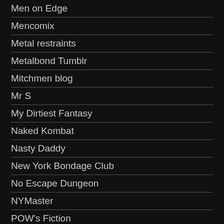Men on Edge
Mencomix
Metal restraints
Metalbond Tumblr
Mitchmen blog
Mr S
My Dirtiest Fantasy
Naked Kombat
Nasty Daddy
New York Bondage Club
No Escape Dungeon
NYMaster
POW's Fiction